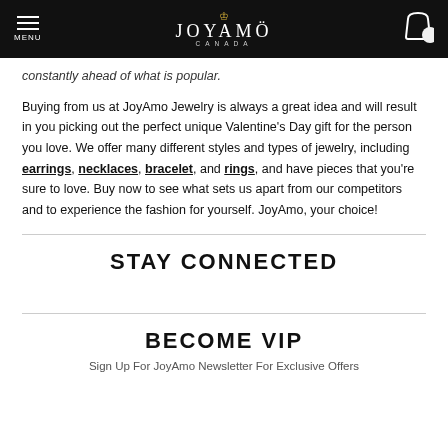JOYAMO CANADA
constantly ahead of what is popular.
Buying from us at JoyAmo Jewelry is always a great idea and will result in you picking out the perfect unique Valentine's Day gift for the person you love. We offer many different styles and types of jewelry, including earrings, necklaces, bracelet, and rings, and have pieces that you're sure to love. Buy now to see what sets us apart from our competitors and to experience the fashion for yourself. JoyAmo, your choice!
STAY CONNECTED
BECOME VIP
Sign Up For JoyAmo Newsletter For Exclusive Offers